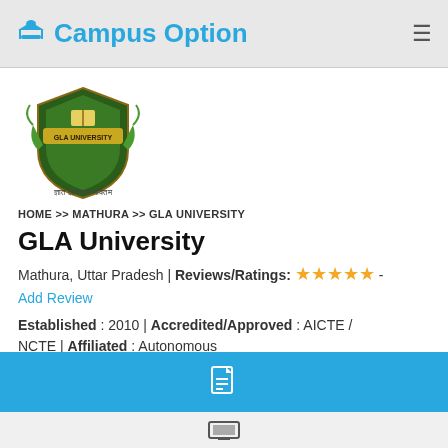Campus Option
[Figure (logo): GLA University shield logo with olive branches and Hindi text]
HOME >> MATHURA >> GLA UNIVERSITY
GLA University
Mathura, Uttar Pradesh | Reviews/Ratings: ★★★★★ - Add Review
Established : 2010 | Accredited/Approved : AICTE / NCTE | Affiliated : Autonomous
Overview